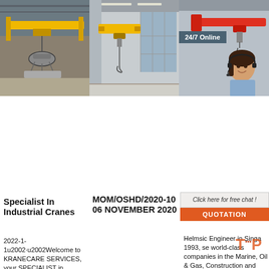[Figure (photo): Yellow overhead crane with electromagnetic magnet lifting device in industrial facility]
[Figure (photo): Indoor overhead crane with yellow beam in large industrial building with large windows]
[Figure (photo): Red jib or gantry crane mounted on wall, with woman headset operator and 24/7 Online badge]
Specialist In Industrial Cranes
2022-1-1u2002·u2002Welcome to KRANECARE SERVICES, your SPECIALIST in Industrial Cranes & Hoists. KRANECARE SERVICES PTE LTD is a specialist in industrial cranes and hoists and is also the sole local distributor of 'STREET' brand – the largest crane
MOM/OSHD/2020-10 06 NOVEMBER 2020
2020-11-17u2002·u2002Learning Report involving Failure of Luffing Jib Tower Crane at Kajima Overseas Asia (Singapore) Pte Ltd's Worksite Located at Tan Tock Seng Link November 2020 3 Figure 3 - Upper Portion of the
Overh Gantry Singa
Helmsic Engineer in Singa 1993, se world-class companies in the Marine, Oil & Gas, Construction and other related industries as a leading total solution provider of project, equipment and
24/7 Online
Click here for free chat !
QUOTATION